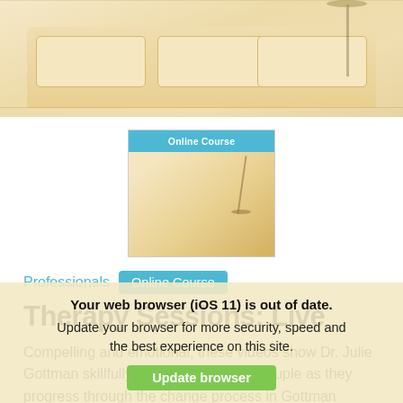[Figure (photo): Hero image showing a warm-toned living room interior with a cream sofa and pendant lamp]
[Figure (photo): Thumbnail image of online course with 'Online Course' badge in teal/blue]
Professionals  Online Course
Therapy Sessions: Live
Compelling and emotional, these videos show Dr. Julie Gottman skillfully working with a real couple as they progress through the change process in Gottman Method Couples Therapy. Includes 10 full-hour clinical sessions demonstrating how to apply
Your web browser (iOS 11) is out of date. Update your browser for more security, speed and the best experience on this site.